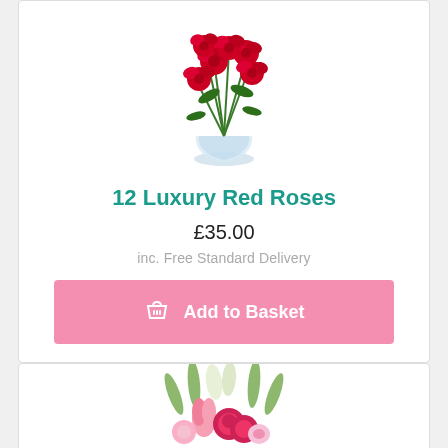[Figure (photo): Bouquet of 12 red roses with white baby's breath in a glass vase]
12 Luxury Red Roses
£35.00
inc. Free Standard Delivery
Add to Basket
[Figure (photo): Floral arrangement with pink tulips, red carnations, white lilies, and baby's breath]